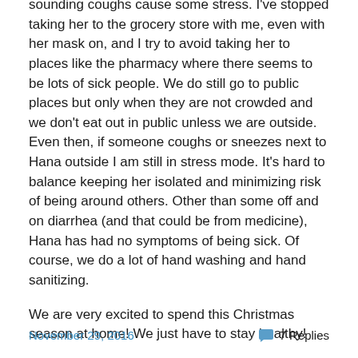sounding coughs cause some stress. I've stopped taking her to the grocery store with me, even with her mask on, and I try to avoid taking her to places like the pharmacy where there seems to be lots of sick people. We do still go to public places but only when they are not crowded and we don't eat out in public unless we are outside. Even then, if someone coughs or sneezes next to Hana outside I am still in stress mode. It's hard to balance keeping her isolated and minimizing risk of being around others. Other than some off and on diarrhea (and that could be from medicine), Hana has had no symptoms of being sick. Of course, we do a lot of hand washing and hand sanitizing.

We are very excited to spend this Christmas season at home! We just have to stay healthy!
November 29, 2016   7 Replies